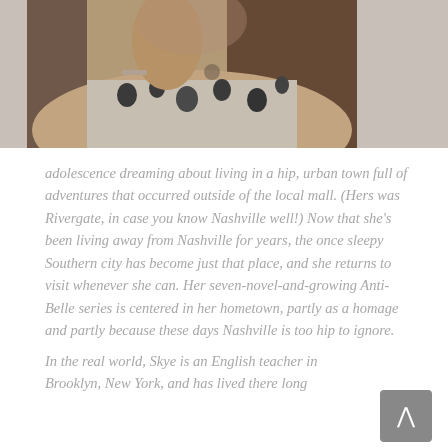[Figure (photo): A photograph of a young woman wearing a strapless floral (black and white flower pattern) top, with a bracelet on her wrist, posed against a dark background.]
adolescence dreaming about living in a hip, urban town full of adventures that occurred outside of the local mall. (Hers was Rivergate, in case you know Nashville well!) Now that she's been living away from Nashville for years, the once sleepy Southern city has become just that place, and she returns to visit whenever she can. Her seven-novel-and-growing Anti-Belle series is centered in her hometown, partly as a homage and partly because these days Nashville is too hip to ignore. In the real world, Skye is an English teacher in Brooklyn, New York, and has lived there long...